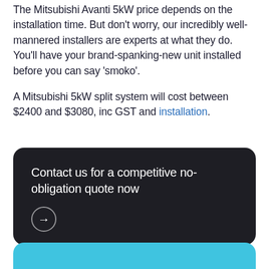The Mitsubishi Avanti 5kW price depends on the installation time. But don't worry, our incredibly well-mannered installers are experts at what they do. You'll have your brand-spanking-new unit installed before you can say 'smoko'.
A Mitsubishi 5kW split system will cost between $2400 and $3080, inc GST and installation.
Contact us for a competitive no-obligation quote now →